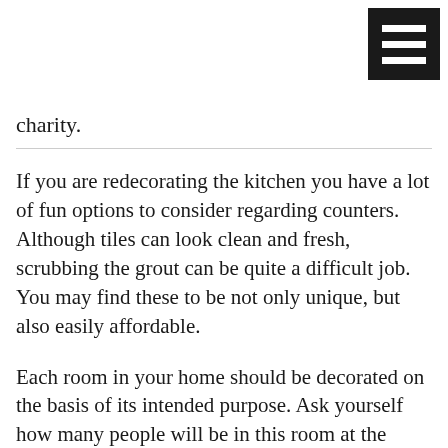[Figure (other): Hamburger menu icon — black square with three white horizontal bars]
charity.
If you are redecorating the kitchen you have a lot of fun options to consider regarding counters. Although tiles can look clean and fresh, scrubbing the grout can be quite a difficult job. You may find these to be not only unique, but also easily affordable.
Each room in your home should be decorated on the basis of its intended purpose. Ask yourself how many people will be in this room at the same time and what they will be doing. While designing a living area or den, it's perfectly acceptable to think about guests and family gatherings. When planning changes to your bedroom, on the other hand, focus on the preferences of yourself and your partner.
Your rooms should reflect your personality. Things should be attractive when you have company, but you are the one who will spend the most time in